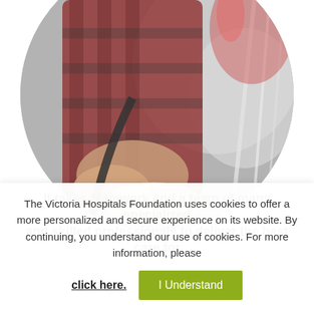[Figure (photo): Circular cropped photo of a medical professional in a plaid shirt working with a patient and medical equipment including tubes and monitors in a hospital setting.]
It takes teamwork and a team of many specialized and skilled professionals to deliver the best care for
The Victoria Hospitals Foundation uses cookies to offer a more personalized and secure experience on its website. By continuing, you understand our use of cookies. For more information, please click here.